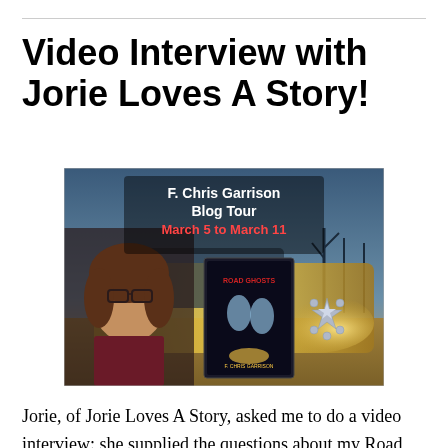Video Interview with Jorie Loves A Story!
[Figure (photo): Blog tour promotional image for F. Chris Garrison featuring a photo of the author (a woman with brown hair and glasses wearing a dark red top), overlaid with text 'F. Chris Garrison Blog Tour March 5 to March 11', a book cover for 'Road Ghosts', star rating badges, and a dramatic car background]
Jorie, of Jorie Loves A Story, asked me to do a video interview; she supplied the questions about my Road Ghosts books, and I answered them in a video. Read her wonderful review of my series and see my video at the